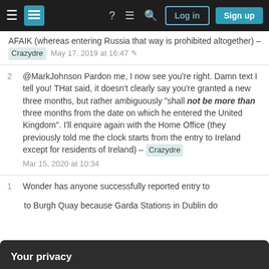Stack Exchange navigation bar with hamburger menu, logo, help, chat, search, Log in, Sign up
AFAIK (whereas entering Russia that way is prohibited altogether) – Crazydre  May 17, 2019 at 16:47
@MarkJohnson Pardon me, I now see you're right. Damn text I tell you! THat said, it doesn't clearly say you're granted a new three months, but rather ambiguously "shall not be more than three months from the date on which he entered the United Kingdom". I'll enquire again with the Home Office (they previously told me the clock starts from the entry to Ireland except for residents of Ireland) – Crazydre  Mar 15, 2020 at 10:34
Wonder has anyone successfully reported entry to
Your privacy
By clicking "Accept all cookies", you agree Stack Exchange can store cookies on your device and disclose information in accordance with our Cookie Policy.
Accept all cookies  Customize settings
to Burgh Quay because Garda Stations in Dublin do